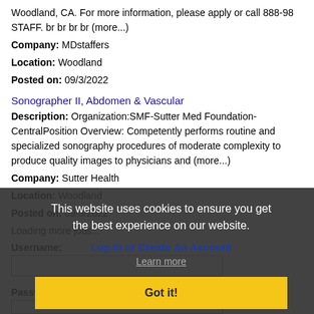Woodland, CA. For more information, please apply or call 888-98 STAFF. br br br br (more...)
Company: MDstaffers
Location: Woodland
Posted on: 09/3/2022
Sonographer II, Abdomen & Vascular
Description: Organization:SMF-Sutter Med Foundation-CentralPosition Overview: Competently performs routine and specialized sonography procedures of moderate complexity to produce quality images to physicians and (more...)
Company: Sutter Health
Location: Woodland
Posted on: 09/3/2022
Loading more jobs...
This website uses cookies to ensure you get the best experience on our website.
Log In or Create An Account
Learn more
Username:
Got it!
Password: